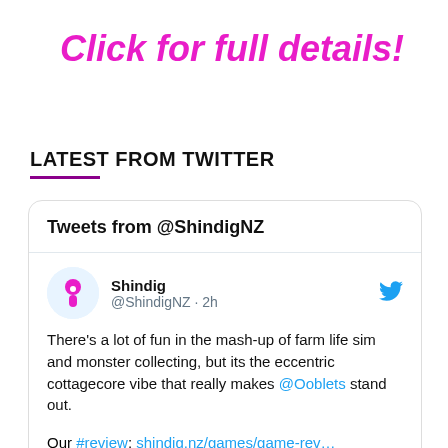Click for full details!
LATEST FROM TWITTER
[Figure (screenshot): Embedded Twitter widget showing tweets from @ShindigNZ. Contains a tweet by Shindig (@ShindigNZ · 2h) reading: There's a lot of fun in the mash-up of farm life sim and monster collecting, but its the eccentric cottagecore vibe that really makes @Ooblets stand out. Our #review: shindig.nz/games/game-rev… #indiegame]